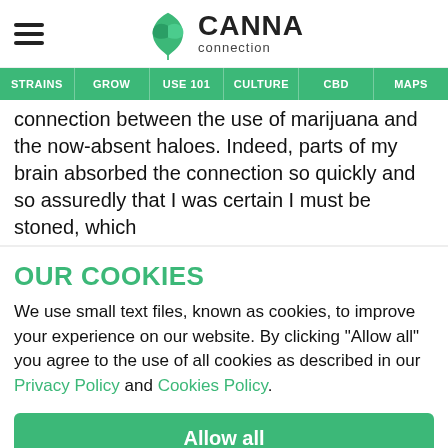[Figure (logo): Canna Connection logo with stylized cannabis leaf icon and text 'CANNA connection']
STRAINS | GROW | USE 101 | CULTURE | CBD | MAPS
connection between the use of marijuana and the now-absent haloes. Indeed, parts of my brain absorbed the connection so quickly and so assuredly that I was certain I must be stoned, which
OUR COOKIES
We use small text files, known as cookies, to improve your experience on our website. By clicking "Allow all" you agree to the use of all cookies as described in our Privacy Policy and Cookies Policy.
Allow all
Reject all
Manage cookies